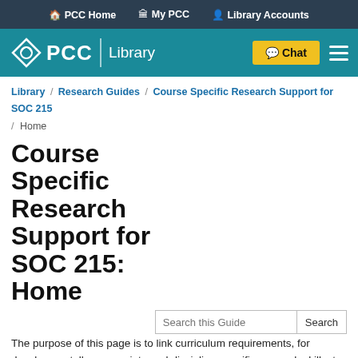PCC Home   My PCC   Library Accounts
[Figure (logo): PCC Library logo with teal header bar, Chat button, and hamburger menu]
Library / Research Guides / Course Specific Research Support for SOC 215 / Home
Course Specific Research Support for SOC 215: Home
The purpose of this page is to link curriculum requirements, for developmentally-appropriate and discipline-specific research skills, to matching library instruction and information literacy support outcomes
Home
Research Support Framework
Library instruction
Social Issues and Movements course outcomes related to research skills: